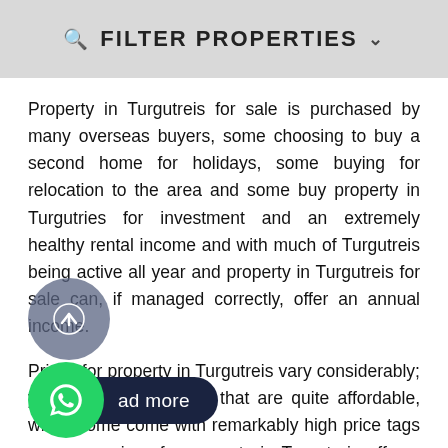FILTER PROPERTIES
Property in Turgutreis for sale is purchased by many overseas buyers, some choosing to buy a second home for holidays, some buying for relocation to the area and some buy property in Turgutries for investment and an extremely healthy rental income and with much of Turgutreis being active all year and property in Turgutreis for sale can, if managed correctly, offer an annual income.
Prices for property in Turgutreis vary considerably; you will find properties that are quite affordable, whilst some come with remarkably high price tags as some prices for property in Turgutreis offer a beach location and fantastic views of the sea, these being ideal for investment use.
When looking to buy property in Turgutreis for any
ad more